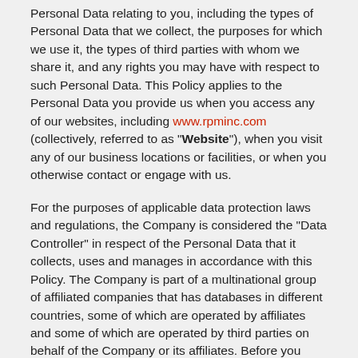Personal Data relating to you, including the types of Personal Data that we collect, the purposes for which we use it, the types of third parties with whom we share it, and any rights you may have with respect to such Personal Data. This Policy applies to the Personal Data you provide us when you access any of our websites, including www.rpminc.com (collectively, referred to as "Website"), when you visit any of our business locations or facilities, or when you otherwise contact or engage with us.
For the purposes of applicable data protection laws and regulations, the Company is considered the "Data Controller" in respect of the Personal Data that it collects, uses and manages in accordance with this Policy. The Company is part of a multinational group of affiliated companies that has databases in different countries, some of which are operated by affiliates and some of which are operated by third parties on behalf of the Company or its affiliates. Before you provide us with any Personal Data or browse our Website, you must read through this Policy in full and make sure that you are comfortable with our privacy practices and agree to comply with the terms and conditions set forth herein.
Please note that our Website may contain links to other websites. These third party sites are not subject to this Policy and we recommend that you review the privacy and security policies of each website that you visit. We are only responsible for the privacy and